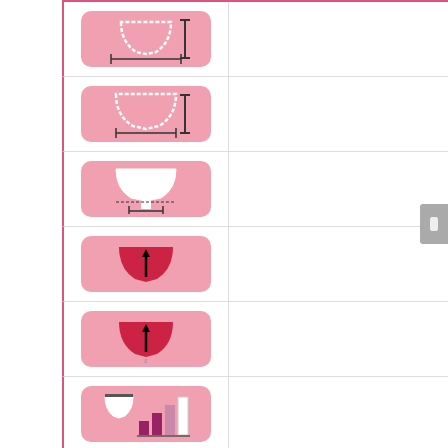| Icon | Value |
| --- | --- |
| [height icon] | 78 mm |
| [width icon] | 65 mm |
| [stem length icon] | 13 mm |
| [capacity icon] | 32 ml |
| [capacity icon] | 32 ml |
| [firmness icon] | 3.5 /5 |